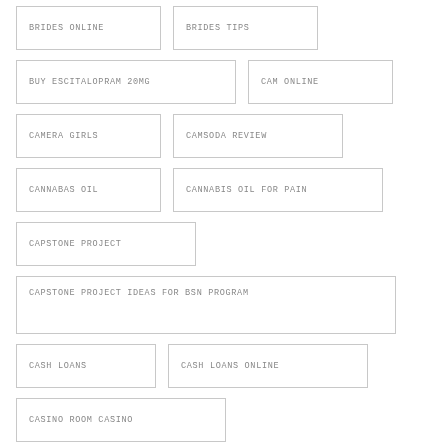BRIDES ONLINE
BRIDES TIPS
BUY ESCITALOPRAM 20MG
CAM ONLINE
CAMERA GIRLS
CAMSODA REVIEW
CANNABAS OIL
CANNABIS OIL FOR PAIN
CAPSTONE PROJECT
CAPSTONE PROJECT IDEAS FOR BSN PROGRAM
CASH LOANS
CASH LOANS ONLINE
CASINO ROOM CASINO
CASINOLAND PROMO
CASUAL DATING ONLINE